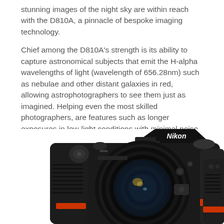stunning images of the night sky are within reach with the D810A, a pinnacle of bespoke imaging technology.
Chief among the D810A's strength is its ability to capture astronomical subjects that emit the H-alpha wavelengths of light (wavelength of 656.28nm) such as nebulae and other distant galaxies in red, allowing astrophotographers to see them just as imagined. Helping even the most skilled photographers, are features such as longer exposures in low-light conditions with minimal noise, and a live view preview function which assists with planning the best shots. In addition, 36.3 megapixels ensure superior image quality in ultra-high definition.
[Figure (photo): Front and side view of a Nikon D810A DSLR camera with a wide-angle lens attached, shown in black against a white background.]